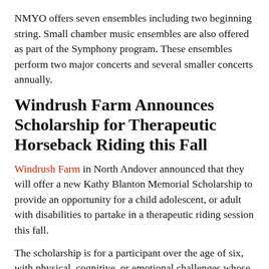NMYO offers seven ensembles including two beginning string. Small chamber music ensembles are also offered as part of the Symphony program. These ensembles perform two major concerts and several smaller concerts annually.
Windrush Farm Announces Scholarship for Therapeutic Horseback Riding this Fall
Windrush Farm in North Andover announced that they will offer a new Kathy Blanton Memorial Scholarship to provide an opportunity for a child adolescent, or adult with disabilities to partake in a therapeutic riding session this fall.
The scholarship is for a participant over the age of six, with physical, cognitive, or emotional challenges whose family qualifies on financial need and consideration of circumstances. The scholarship is for an individual who has not previously participated in a therapeutic riding program.